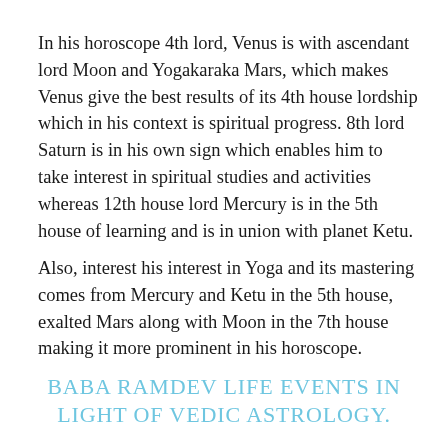In his horoscope 4th lord, Venus is with ascendant lord Moon and Yogakaraka Mars, which makes Venus give the best results of its 4th house lordship which in his context is spiritual progress. 8th lord Saturn is in his own sign which enables him to take interest in spiritual studies and activities whereas 12th house lord Mercury is in the 5th house of learning and is in union with planet Ketu.
Also, interest his interest in Yoga and its mastering comes from Mercury and Ketu in the 5th house, exalted Mars along with Moon in the 7th house making it more prominent in his horoscope.
BABA RAMDEV LIFE EVENTS IN LIGHT OF VEDIC ASTROLOGY.